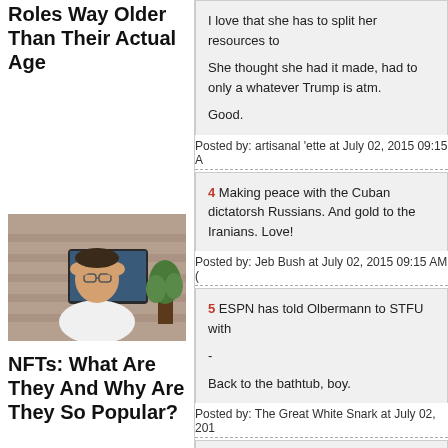Roles Way Older Than Their Actual Age
[Figure (photo): Man sitting at a computer, holding his head in his hands, appearing stressed]
NFTs: What Are They And Why Are They So Popular?
I love that she has to split her resources to
She thought she had it made, had to only a whatever Trump is atm.
Good.
Posted by: artisanal 'ette at July 02, 2015 09:15 A
4 Making peace with the Cuban dictatorsh Russians. And gold to the Iranians. Love!
Posted by: Jeb Bush at July 02, 2015 09:15 AM (
5 ESPN has told Olbermann to STFU with
-
Back to the bathtub, boy.
Posted by: The Great White Snark at July 02, 201
6 ESPN has told Olbermann to STFU with
-
Back to the bathtub, boy.